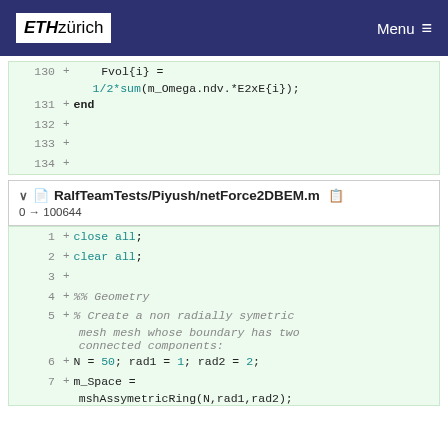ETH zürich | Menu
[Figure (screenshot): Code diff block showing lines 130-134 with Fvol{i} = 1/2*sum(m_Omega.ndv.*E2xE{i}); and end]
RalfTeamTests/Piyush/netForce2DBEM.m
0 → 100644
[Figure (screenshot): Code block showing lines 1-7: close all; clear all; %% Geometry % Create a non radially symetric mesh mesh whose boundary has two connected components: N = 50; rad1 = 1; rad2 = 2; m_Space = mshAssymetricRing(N,rad1,rad2);]